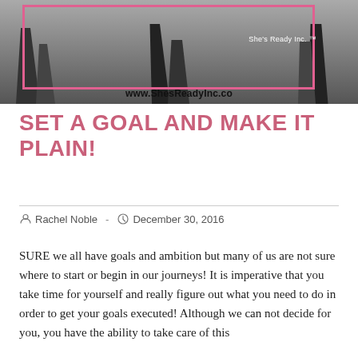[Figure (photo): Black and white photo of people walking, showing legs and feet. A pink rectangle border is overlaid on the image with the text 'She's Ready Inc. ™' inside, and the URL 'www.ShesReadyInc.co' at the bottom of the image.]
SET A GOAL AND MAKE IT PLAIN!
Rachel Noble  -  December 30, 2016
SURE we all have goals and ambition but many of us are not sure where to start or begin in our journeys! It is imperative that you take time for yourself and really figure out what you need to do in order to get your goals executed! Although we can not decide for you, you have the ability to take care of this